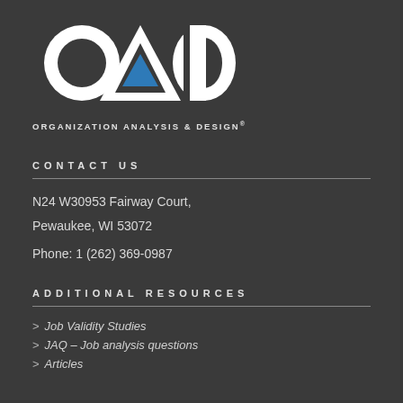[Figure (logo): OAD Organization Analysis & Design logo with circular letters O, A (with blue triangle), D in white on dark background]
CONTACT US
N24 W30953 Fairway Court,
Pewaukee, WI 53072
Phone: 1 (262) 369-0987
ADDITIONAL RESOURCES
> Job Validity Studies
> JAQ – Job analysis questions
> Articles